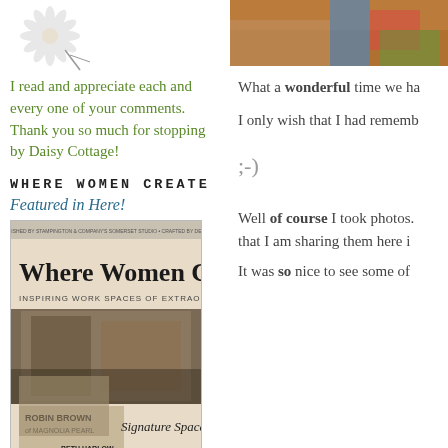[Figure (illustration): Daisy flower illustration at top of left column]
I read and appreciate each and every one of your comments. Thank you so much for stopping by Daisy Cottage!
WHERE WOMEN CREATE
Featured in Here!
[Figure (photo): Book cover of 'Where Women Create' featuring Robin Brown of Magnolia Pearl, with Signature Spaces by Beth Harlow, Jane Schouten, Mary Emmerling]
[Figure (photo): Photo at top right showing colorful fabric or items, partially cropped]
What a wonderful time we ha
I only wish that I had rememb
;-)
Well of course I took photos. that I am sharing them here i
It was so nice to see some of